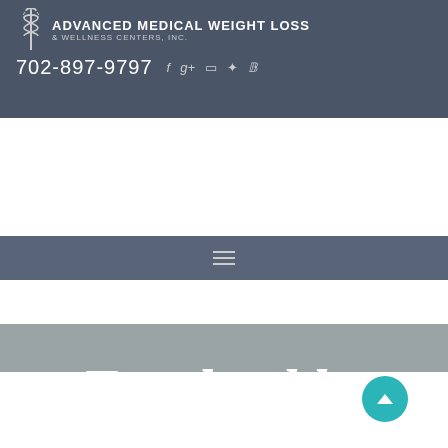ADVANCED MEDICAL WEIGHT LOSS & WELLNESS CENTERS, INC. 702-897-9797
Tag: healthy lifestyle
HOME / HEALTHY LIFESTYLE